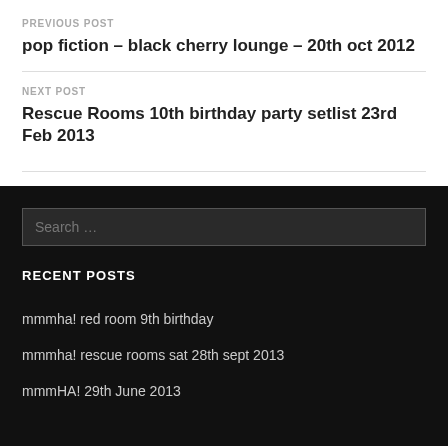PREVIOUS POST
pop fiction – black cherry lounge – 20th oct 2012
NEXT POST
Rescue Rooms 10th birthday party setlist 23rd Feb 2013
Search ...
RECENT POSTS
mmmha! red room 9th birthday
mmmha! rescue rooms sat 28th sept 2013
mmmHA! 29th June 2013